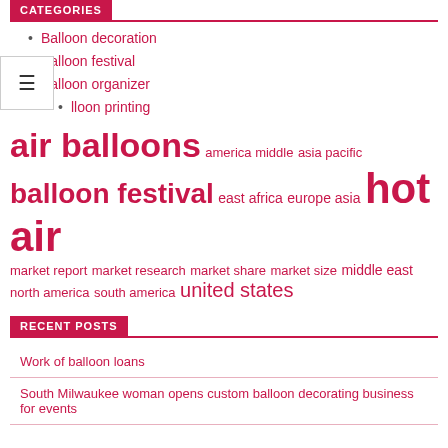CATEGORIES
Balloon decoration
Balloon festival
Balloon organizer
Balloon printing
[Figure (infographic): Tag cloud with balloon-related terms in varying sizes: air balloons (large), balloon festival (large), hot air (very large), america middle, asia pacific, east africa, europe asia, market report, market research, market share, market size, middle east, north america, south america, united states]
RECENT POSTS
Work of balloon loans
South Milwaukee woman opens custom balloon decorating business for events